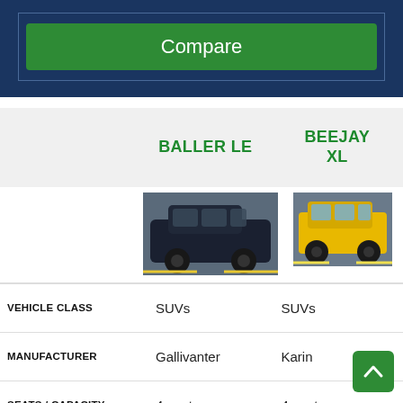[Figure (screenshot): Dark navy blue banner with a green Compare button inside a bordered box]
|  | BALLER LE | BEEJAY XL |
| --- | --- | --- |
|  | [image: black SUV] | [image: yellow SUV] |
| VEHICLE CLASS | SUVs | SUVs |
| MANUFACTURER | Gallivanter | Karin |
| SEATS / CAPACITY | 4 seats | 4 seats |
| ACQUISITION | Legendary | Can be |